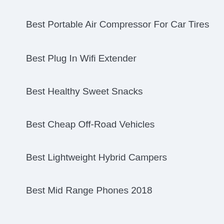Best Portable Air Compressor For Car Tires
Best Plug In Wifi Extender
Best Healthy Sweet Snacks
Best Cheap Off-Road Vehicles
Best Lightweight Hybrid Campers
Best Mid Range Phones 2018